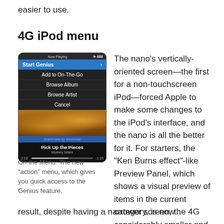easier to use.
4G iPod menu
[Figure (screenshot): Screenshot of an iPod nano screen showing a Now Playing menu with options: Start Genius (highlighted in blue), Add to On-The-Go, Browse Album, Browse Artist, Cancel. Below is album art, a 'brand new by tomorrow' banner, and now-playing info showing 'Pick Up the Pieces' by Money Mark with a progress bar showing 2:10 / -1:15.]
On the Menu: The new “action” menu, which gives you quick access to the Genius feature.
The nano’s vertically-oriented screen—the first for a non-touchscreen iPod—forced Apple to make some changes to the iPod’s interface, and the nano is all the better for it. For starters, the “Ken Burns effect”-like Preview Panel, which shows a visual preview of items in the current category, is now considerably smaller and located at the bottom of the screen. As a result, despite having a narrower screen, the 4G
result, despite having a narrower screen, the 4G